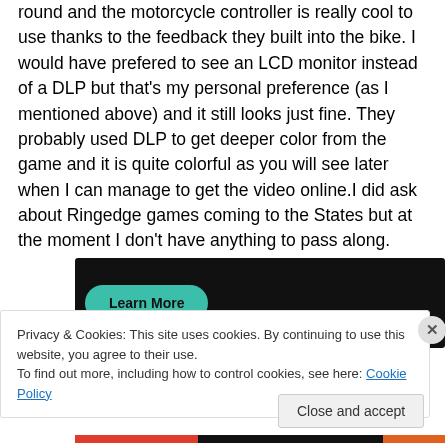round and the motorcycle controller is really cool to use thanks to the feedback they built into the bike. I would have prefered to see an LCD monitor instead of a DLP but that's my personal preference (as I mentioned above) and it still looks just fine. They probably used DLP to get deeper color from the game and it is quite colorful as you will see later when I can manage to get the video online.I did ask about Ringedge games coming to the States but at the moment I don't have anything to pass along.
[Figure (screenshot): Dark banner with a teal 'Learn More' button on the left side]
Privacy & Cookies: This site uses cookies. By continuing to use this website, you agree to their use.
To find out more, including how to control cookies, see here: Cookie Policy
Close and accept